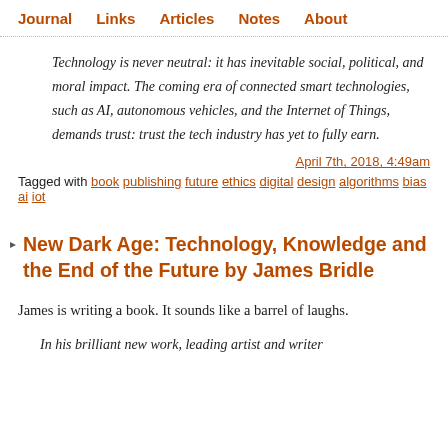Journal  Links  Articles  Notes  About
Technology is never neutral: it has inevitable social, political, and moral impact. The coming era of connected smart technologies, such as AI, autonomous vehicles, and the Internet of Things, demands trust: trust the tech industry has yet to fully earn.
April 7th, 2018, 4:49am
Tagged with book publishing future ethics digital design algorithms bias ai iot
New Dark Age: Technology, Knowledge and the End of the Future by James Bridle
James is writing a book. It sounds like a barrel of laughs.
In his brilliant new work, leading artist and writer